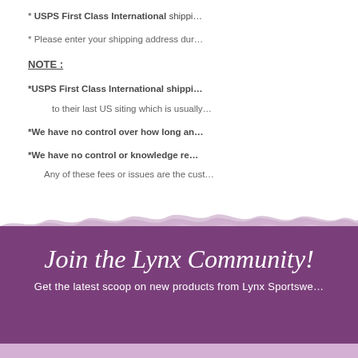* USPS First Class International shippi...
* Please enter your shipping address dur...
NOTE :
*USPS First Class International shippi...
to their last US siting which is usually...
*We have no control over how long an...
*We have no control or knowledge re...
Any of these fees or issues are the cust...
Join the Lynx Community!
Get the latest scoop on new products from Lynx Sportswe...